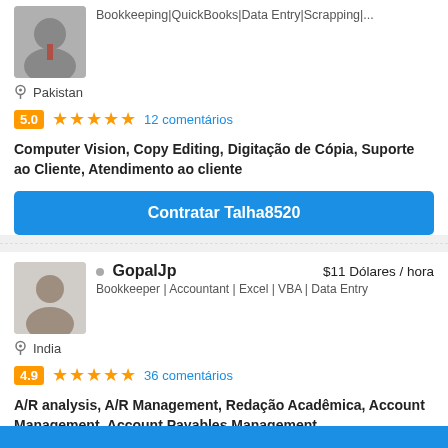Bookkeeping|QuickBooks|Data Entry|Scrapping|...
Pakistan
5.0 ★★★★★ 12 comentários
Computer Vision, Copy Editing, Digitação de Cópia, Suporte ao Cliente, Atendimento ao cliente
Contratar Talha8520
[Figure (photo): Profile photo of GopalJp]
GopalJp $11 Dólares / hora
Bookkeeper | Accountant | Excel | VBA | Data Entry
India
4.9 ★★★★★ 36 comentários
A/R analysis, A/R Management, Redação Acadêmica, Account Management, Account Payables Management